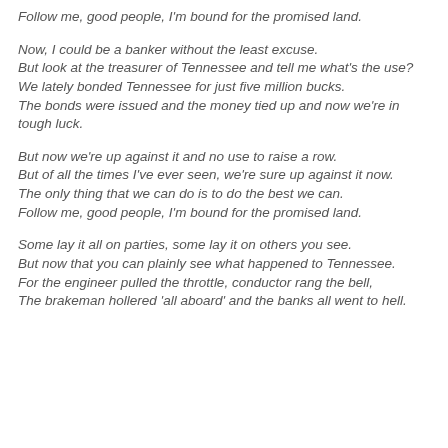Follow me, good people, I'm bound for the promised land.
Now, I could be a banker without the least excuse.
But look at the treasurer of Tennessee and tell me what's the use?
We lately bonded Tennessee for just five million bucks.
The bonds were issued and the money tied up and now we're in tough luck.
But now we're up against it and no use to raise a row.
But of all the times I've ever seen, we're sure up against it now.
The only thing that we can do is to do the best we can.
Follow me, good people, I'm bound for the promised land.
Some lay it all on parties, some lay it on others you see.
But now that you can plainly see what happened to Tennessee.
For the engineer pulled the throttle, conductor rang the bell,
The brakeman hollered 'all aboard' and the banks all went to hell.